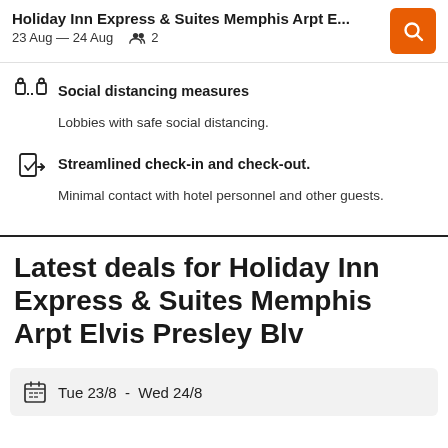Holiday Inn Express & Suites Memphis Arpt E... | 23 Aug – 24 Aug | 2 guests
Social distancing measures
Lobbies with safe social distancing.
Streamlined check-in and check-out.
Minimal contact with hotel personnel and other guests.
Latest deals for Holiday Inn Express & Suites Memphis Arpt Elvis Presley Blv
Tue 23/8  -  Wed 24/8